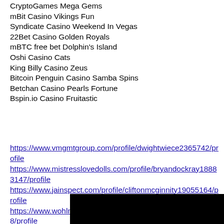CryptoGames Mega Gems
mBit Casino Vikings Fun
Syndicate Casino Weekend In Vegas
22Bet Casino Golden Royals
mBTC free bet Dolphin's Island
Oshi Casino Cats
King Billy Casino Zeus
Bitcoin Penguin Casino Samba Spins
Betchan Casino Pearls Fortune
Bspin.io Casino Fruitastic
https://www.vmgmtgroup.com/profile/dwightwiece2365742/profile
https://www.mistresslovedolls.com/profile/bryandockray18883147/profile
https://www.jainspect.com/profile/cliftonmcginnity19055164/profile
https://www.wohlmuther.com/profile/orlandobratchett3121728/profile